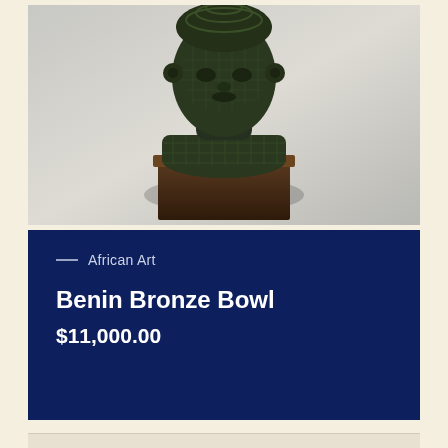[Figure (photo): A dark bronze African sculptural head with intricate woven/mesh patterning, mounted on a dark wooden pedestal. The sculpture shows a face with elaborate headdress and collar decorations, photographed against a light grey/white background.]
— African Art
Benin Bronze Bowl
$11,000.00